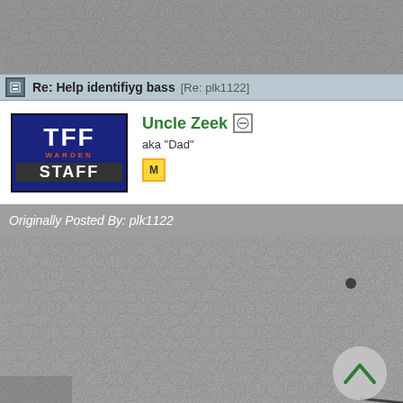[Figure (photo): Close-up photo of fish scales texture, gray mottled pattern, top portion of page]
Re: Help identifiyg bass [Re: plk1122]
[Figure (photo): TFF Warden Staff forum avatar/badge, dark blue background with white text]
Uncle Zeek aka "Dad"
Originally Posted By: plk1122
[Figure (photo): Close-up photo of fish scales texture, gray mottled pattern, quoted post image with scroll-up button overlay]